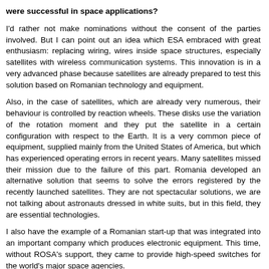were successful in space applications?
I'd rather not make nominations without the consent of the parties involved. But I can point out an idea which ESA embraced with great enthusiasm: replacing wiring, wires inside space structures, especially satellites with wireless communication systems. This innovation is in a very advanced phase because satellites are already prepared to test this solution based on Romanian technology and equipment.
Also, in the case of satellites, which are already very numerous, their behaviour is controlled by reaction wheels. These disks use the variation of the rotation moment and they put the satellite in a certain configuration with respect to the Earth. It is a very common piece of equipment, supplied mainly from the United States of America, but which has experienced operating errors in recent years. Many satellites missed their mission due to the failure of this part. Romania developed an alternative solution that seems to solve the errors registered by the recently launched satellites. They are not spectacular solutions, we are not talking about astronauts dressed in white suits, but in this field, they are essential technologies.
I also have the example of a Romanian start-up that was integrated into an important company which produces electronic equipment. This time, without ROSA's support, they came to provide high-speed switches for the world's major space agencies.